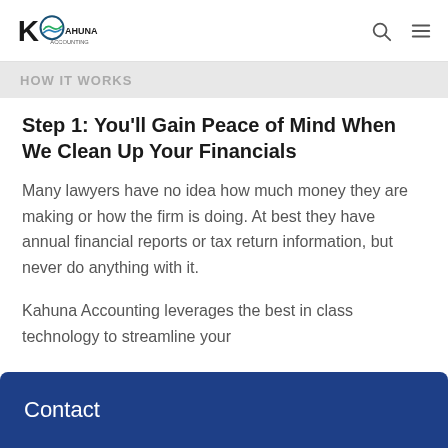Kahuna Accounting — logo and navigation
HOW IT WORKS
Step 1: You'll Gain Peace of Mind When We Clean Up Your Financials
Many lawyers have no idea how much money they are making or how the firm is doing. At best they have annual financial reports or tax return information, but never do anything with it.
Kahuna Accounting leverages the best in class technology to streamline your
Contact